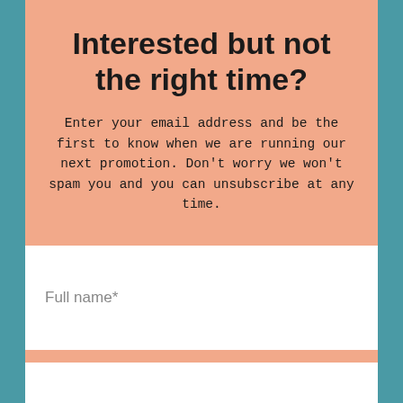Interested but not the right time?
Enter your email address and be the first to know when we are running our next promotion. Don't worry we won't spam you and you can unsubscribe at any time.
Full name*
Email*